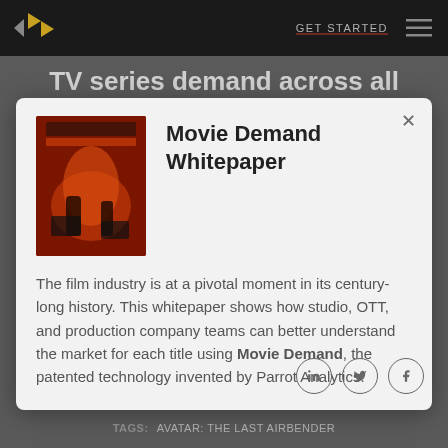GET STARTED
TV series demand across all television platforms for the
[Figure (screenshot): Modal popup showing Movie Demand Whitepaper with cover image thumbnail and descriptive text]
The film industry is at a pivotal moment in its century-long history. This whitepaper shows how studio, OTT, and production company teams can better understand the market for each title using Movie Demand, the patented technology invented by Parrot Analytics.
TAGS: AVATAR: THE LAST AIRBENDER